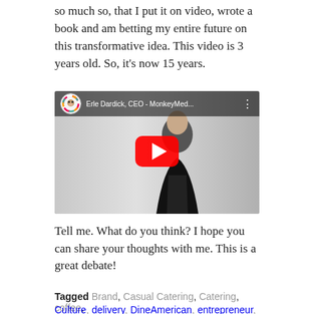so much so, that I put it on video, wrote a book and am betting my entire future on this transformative idea. This video is 3 years old. So, it's now 15 years.
[Figure (screenshot): YouTube video thumbnail showing Erle Dardick, CEO - MonkeyMed... with a play button overlay. A man in a black jacket on a grey background. The video has a YouTube-style top bar with a logo and title.]
Tell me. What do you think? I hope you can share your thoughts with me. This is a great debate!
Tagged Brand, Casual Catering, Catering, coffee, Culture, delivery, DineAmerican, entrepreneur, Erle...